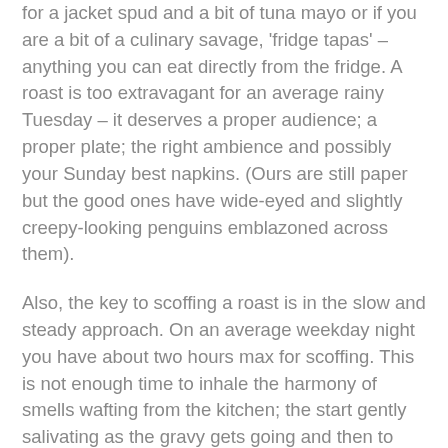for a jacket spud and a bit of tuna mayo or if you are a bit of a culinary savage, 'fridge tapas' – anything you can eat directly from the fridge. A roast is too extravagant for an average rainy Tuesday – it deserves a proper audience; a proper plate; the right ambience and possibly your Sunday best napkins. (Ours are still paper but the good ones have wide-eyed and slightly creepy-looking penguins emblazoned across them).
Also, the key to scoffing a roast is in the slow and steady approach. On an average weekday night you have about two hours max for scoffing. This is not enough time to inhale the harmony of smells wafting from the kitchen; the start gently salivating as the gravy gets going and then to ease into your favourite seat that's moulded to your derriere over the years and not leave until you've eaten the equivalent of four meals in one sitting. But those meals are spread over four hours so that's OK. That ratio is OK and how it should be.